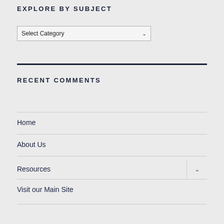EXPLORE BY SUBJECT
Select Category
RECENT COMMENTS
Home
About Us
Resources
Visit our Main Site